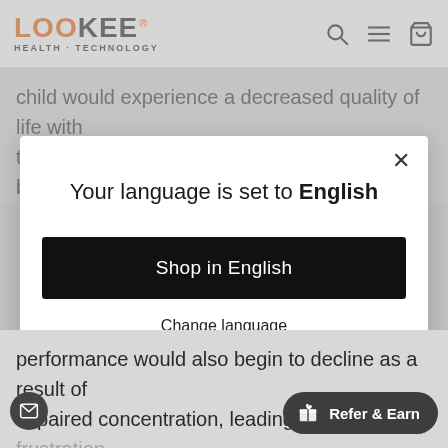LOOKEE HEALTH · TECHNOLOGY
child would experience a decreased quality of life with the risk of developing depression. This is based on the
Your language is set to English
Shop in English
Change language
performance would also begin to decline as a result of impaired concentration, leading to further frustration feelings of restlessness.
Refer & Earn